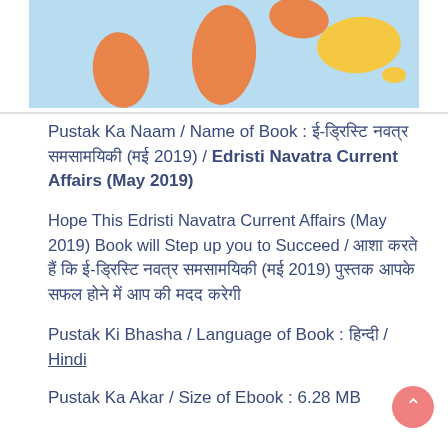[Figure (map): Partial world map showing continents colored in orange/yellow on a light blue background — bottom portion of a world map image]
Pustak Ka Naam / Name of Book : ई-ड्रिस्टि नवत्र समसामयिकी (मई 2019) / Edristi Navatra Current Affairs (May 2019)
Hope This Edristi Navatra Current Affairs (May 2019) Book will Step up you to Succeed / आशा करते हैं कि ई-ड्रिस्टि नवत्र समसामयिकी (मई 2019) पुस्तक आपके सफल होने में आप की मदद करेगी
Pustak Ki Bhasha / Language of Book : हिन्दी / Hindi
Pustak Ka Akar / Size of Ebook : 6.28 MB